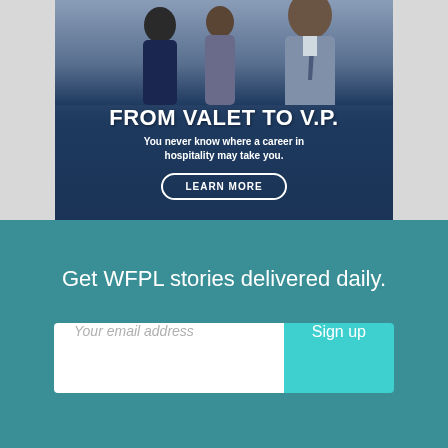[Figure (photo): Advertisement banner with business professionals in background. Text reads 'FROM VALET TO V.P.' with subtext 'You never know where a career in hospitality may take you.' and a 'LEARN MORE' button.]
Get WFPL stories delivered daily.
Your email address
Sign up